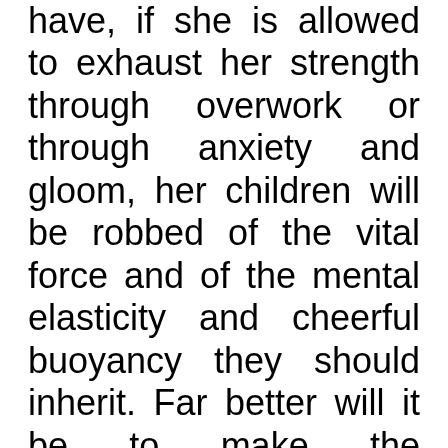have, if she is allowed to exhaust her strength through overwork or through anxiety and gloom, her children will be robbed of the vital force and of the mental elasticity and cheerful buoyancy they should inherit. Far better will it be to make the mother's life bright and cheerful, to shield her from want, wearing labor, and depressing care, and let the children inherit good constitutions